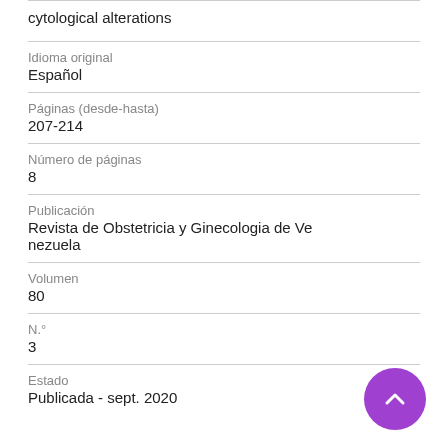cytological alterations
Idioma original
Español
Páginas (desde-hasta)
207-214
Número de páginas
8
Publicación
Revista de Obstetricia y Ginecologia de Venezuela
Volumen
80
N.°
3
Estado
Publicada - sept. 2020